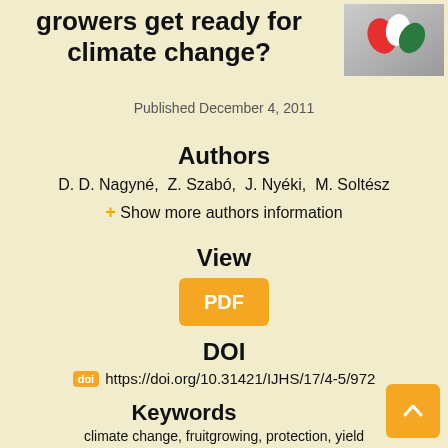growers get ready for climate change?
[Figure (logo): Journal logo with red and green leaf-like shapes on gradient background]
Published December 4, 2011
Authors
D. D. Nagyné, Z. Szabó, J. Nyéki, M. Soltész
+ Show more authors information
View
PDF
DOI
https://doi.org/10.31421/IJHS/17/4-5/972
Keywords
climate change, fruitgrowing, protection, yield